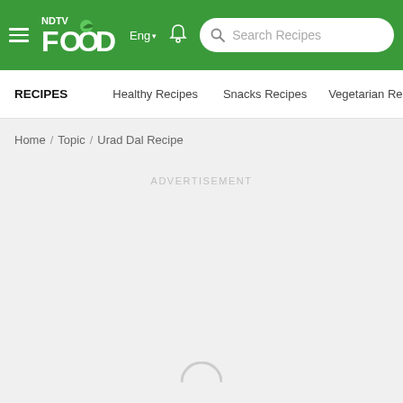NDTV Food — Eng — Search Recipes
RECIPES | Healthy Recipes | Snacks Recipes | Vegetarian Recipe
Home / Topic / Urad Dal Recipe
ADVERTISEMENT